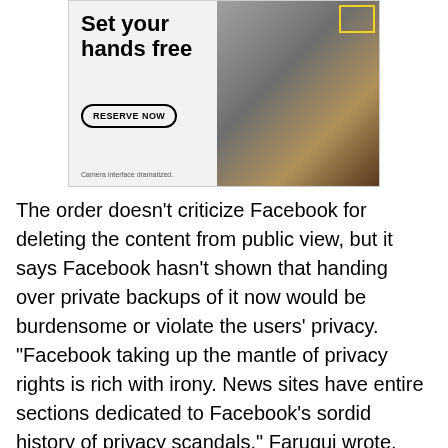[Figure (illustration): Advertisement banner with a light gray left panel showing the headline 'Set your hands free', a 'RESERVE NOW' button, and disclaimer text 'Camera interface dramatized.'. The right panel shows a woman doing a handstand yoga pose on a colorful rug, with a yellow bounding box overlay on the image.]
The order doesn’t criticize Facebook for deleting the content from public view, but it says Facebook hasn’t shown that handing over private backups of it now would be burdensome or violate the users’ privacy. “Facebook taking up the mantle of privacy rights is rich with irony. News sites have entire sections dedicated to Facebook’s sordid history of privacy scandals,” Faruqui wrote.